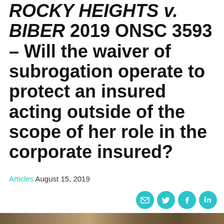ROCKY HEIGHTS v. BIBER 2019 ONSC 3593 – Will the waiver of subrogation operate to protect an insured acting outside of the scope of her role in the corporate insured?
Articles August 15, 2019
[Figure (other): Social media sharing icons: email, Twitter, Facebook, LinkedIn – all in teal/cyan circular buttons]
[Figure (photo): Partial photo strip at the bottom of the page, appears to show an outdoor scene]